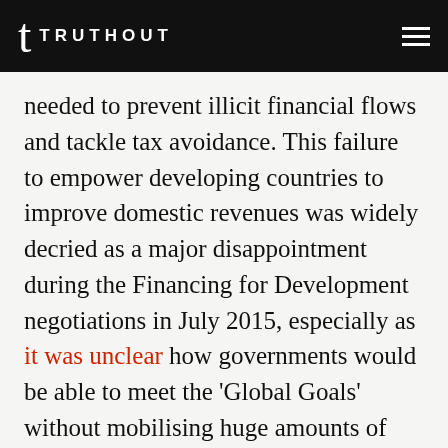TRUTHOUT
needed to prevent illicit financial flows and tackle tax avoidance. This failure to empower developing countries to improve domestic revenues was widely decried as a major disappointment during the Financing for Development negotiations in July 2015, especially as it was unclear how governments would be able to meet the ‘Global Goals’ without mobilising huge amounts of additional finance.
In the absence of a more effective and inclusive global tax agreement, decisions on international